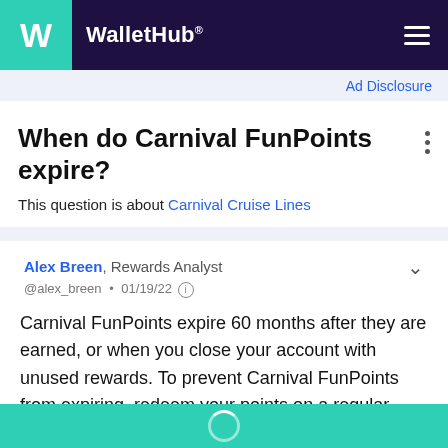WalletHub
Ad Disclosure
When do Carnival FunPoints expire?
This question is about Carnival Cruise Lines
Alex Breen, Rewards Analyst
@alex_breen • 01/19/22
Carnival FunPoints expire 60 months after they are earned, or when you close your account with unused rewards. To prevent Carnival FunPoints from expiring, redeem your points on a regular basis and make sure to cash in any